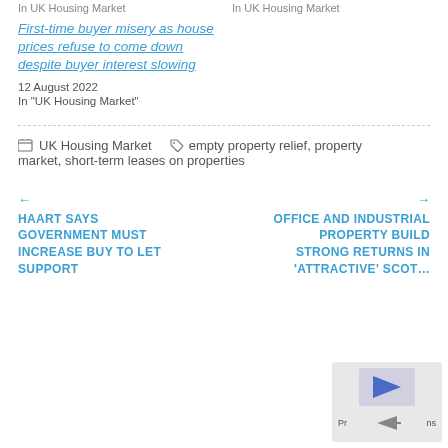In  UK Housing Market
In  UK Housing Market
First-time buyer misery as house prices refuse to come down despite buyer interest slowing
12 August 2022
In "UK Housing Market"
UK Housing Market
empty property relief, property market, short-term leases on properties
← HAART SAYS GOVERNMENT MUST INCREASE BUY TO LET SUPPORT
OFFICE AND INDUSTRIAL PROPERTY BUILD STRONG RETURNS IN 'ATTRACTIVE' SCOT… →